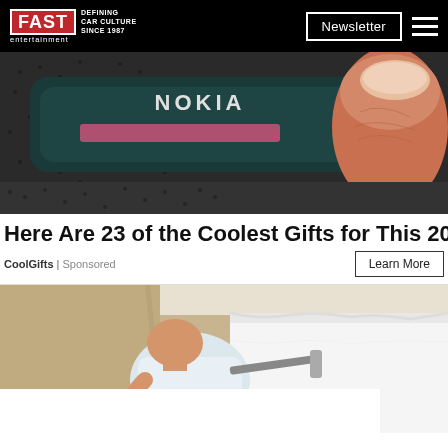FAST entertainment | DEFINING CAR CULTURE SINCE 1987 | Newsletter
[Figure (photo): Close-up photo of a Nokia Fit device (dark teal/black) being pressed by a thumb against a dark textured surface. The Nokia and FIT. text is visible on the device.]
Here Are 23 of the Coolest Gifts for This 2022
CoolGifts | Sponsored
[Figure (photo): Photo of a heavyset bald man painting a wall white in a room with tan/beige walls. He is using a paint roller on a long handle. A white rectangle overlay appears at the bottom of the image.]